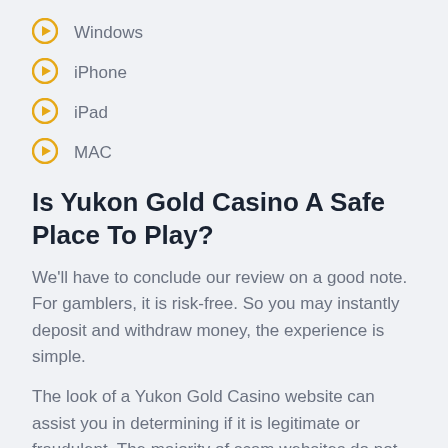Windows
iPhone
iPad
MAC
Is Yukon Gold Casino A Safe Place To Play?
We'll have to conclude our review on a good note. For gamblers, it is risk-free. So you may instantly deposit and withdraw money, the experience is simple.
The look of a Yukon Gold Casino website can assist you in determining if it is legitimate or fraudulent. The majority of scam websites do not put any effort into creating a well-organized, professional website